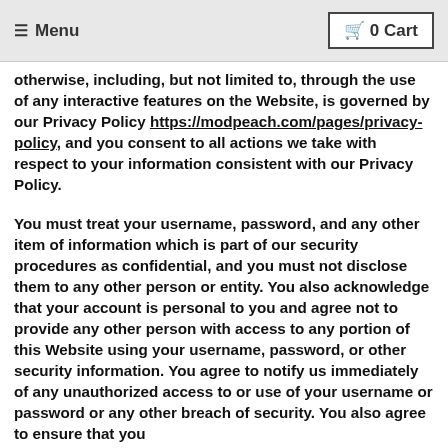≡ Menu    🛒 0 Cart
otherwise, including, but not limited to, through the use of any interactive features on the Website, is governed by our Privacy Policy https://modpeach.com/pages/privacy-policy, and you consent to all actions we take with respect to your information consistent with our Privacy Policy.
You must treat your username, password, and any other item of information which is part of our security procedures as confidential, and you must not disclose them to any other person or entity. You also acknowledge that your account is personal to you and agree not to provide any other person with access to any portion of this Website using your username, password, or other security information. You agree to notify us immediately of any unauthorized access to or use of your username or password or any other breach of security. You also agree to ensure that you